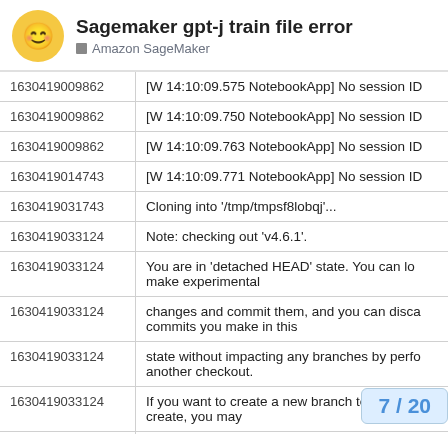Sagemaker gpt-j train file error
Amazon SageMaker
| ID | Message |
| --- | --- |
| 1630419009862 | [W 14:10:09.575 NotebookApp] No session ID |
| 1630419009862 | [W 14:10:09.750 NotebookApp] No session ID |
| 1630419009862 | [W 14:10:09.763 NotebookApp] No session ID |
| 1630419014743 | [W 14:10:09.771 NotebookApp] No session ID |
| 1630419031743 | Cloning into '/tmp/tmpsf8lobqj'... |
| 1630419033124 | Note: checking out 'v4.6.1'. |
| 1630419033124 | You are in 'detached HEAD' state. You can lo make experimental |
| 1630419033124 | changes and commit them, and you can disca commits you make in this |
| 1630419033124 | state without impacting any branches by perfo another checkout. |
| 1630419033124 | If you want to create a new branch to retain c create, you may |
| 1630419033124 | do so (now or later) by command again. Exam |
7 / 20